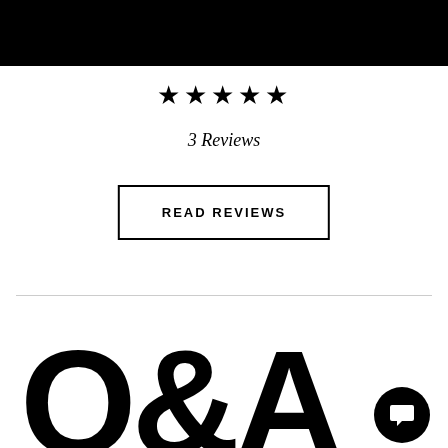[Figure (other): Black header bar at the top of the page]
★★★★★
3 Reviews
READ REVIEWS
[Figure (other): Large bold Q&A text section at the bottom with an up-arrow circle icon and a chat bubble circle icon]